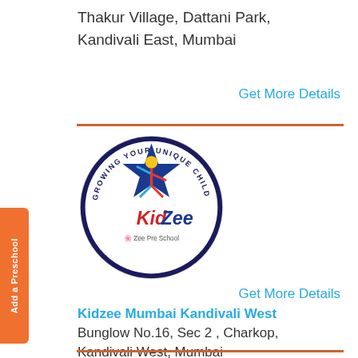Thakur Village, Dattani Park, Kandivali East, Mumbai
Get More Details
[Figure (logo): Kidzee (Zee Pre School) circular logo featuring a blue star with a child figure and the text 'KidZee' in red, with 'Growing Your Unique Child' around the circle border]
Kidzee Mumbai Kandivali West
Bunglow No.16, Sec 2 , Charkop, Kandivali West, Mumbai
Get More Details